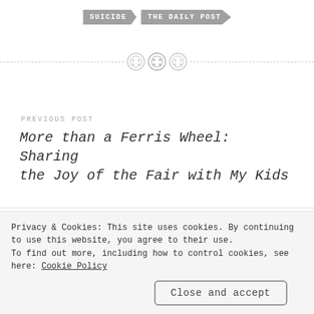SUICIDE | THE DAILY POST
[Figure (illustration): Three decorative button/circle icons arranged horizontally on a dashed divider line]
PREVIOUS POST
More than a Ferris Wheel: Sharing the Joy of the Fair with My Kids
NEXT POST
Privacy & Cookies: This site uses cookies. By continuing to use this website, you agree to their use.
To find out more, including how to control cookies, see here: Cookie Policy
Close and accept